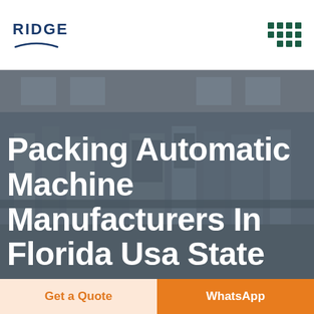RIDGE
[Figure (photo): Factory/manufacturing floor interior showing automated packing machines and industrial equipment, used as a hero background image with dark overlay]
Packing Automatic Machine Manufacturers In Florida Usa State
Get a Quote
WhatsApp